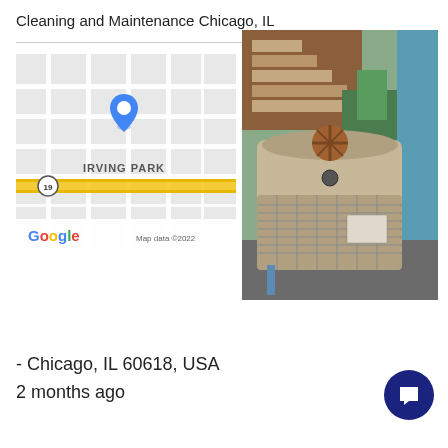Cleaning and Maintenance Chicago, IL
[Figure (map): Google Map showing Irving Park neighborhood in Chicago with a blue location pin. Map data ©2022.]
[Figure (photo): Outdoor HVAC/air conditioning unit next to a house, with wooden staircase and green plants in the background.]
- Chicago, IL 60618, USA
2 months ago